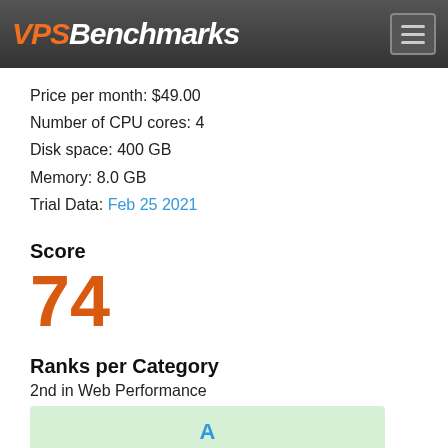VPSBenchmarks
Price per month: $49.00
Number of CPU cores: 4
Disk space: 400 GB
Memory: 8.0 GB
Trial Data: Feb 25 2021
Score
74
Ranks per Category
2nd in Web Performance
[Figure (other): Green grade box showing letter A]
7th in Raw CPU Power